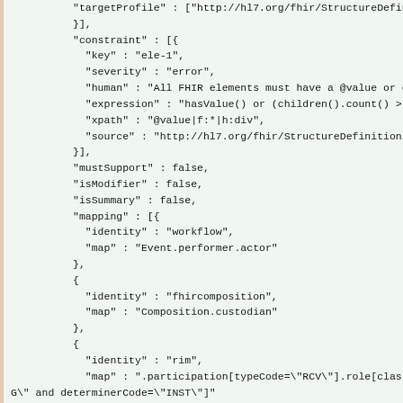JSON/FHIR StructureDefinition code block showing constraint, mustSupport, isModifier, isSummary, and mapping fields